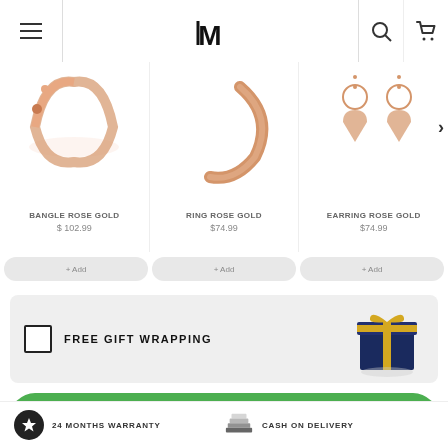IM (logo) — navigation header with menu, logo, search, cart
[Figure (photo): Bangle Rose Gold jewelry photo]
BANGLE ROSE GOLD
$ 102.99
[Figure (photo): Ring Rose Gold jewelry photo]
RING ROSE GOLD
$74.99
[Figure (photo): Earring Rose Gold jewelry photo]
EARRING ROSE GOLD
$74.99
FREE GIFT WRAPPING
[Figure (photo): Gift wrapped box in navy blue with gold ribbon]
ADD TO CART
24 MONTHS WARRANTY
CASH ON DELIVERY